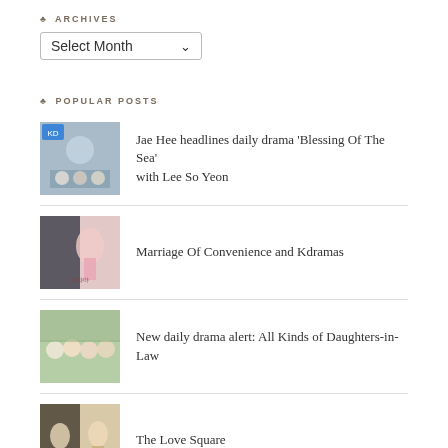♣ ARCHIVES
Select Month
♣ POPULAR POSTS
Jae Hee headlines daily drama 'Blessing Of The Sea' with Lee So Yeon
Marriage Of Convenience and Kdramas
New daily drama alert: All Kinds of Daughters-in-Law
The Love Square
REVIEW: Business Proposal (2022)
♣ JOIN OUR FACEBOOK COMMUNITY!